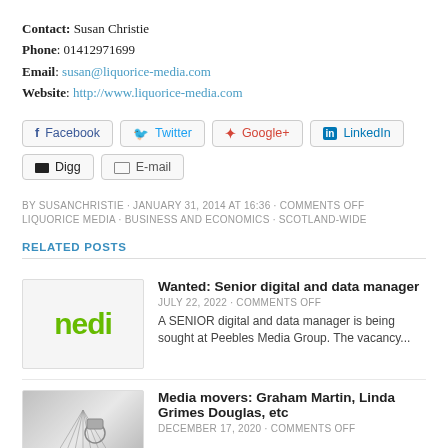Contact: Susan Christie
Phone: 01412971699
Email: susan@liquorice-media.com
Website: http://www.liquorice-media.com
[Figure (other): Social sharing buttons: Facebook, Twitter, Google+, LinkedIn, Digg, E-mail]
BY SUSANCHRISTIE · JANUARY 31, 2014 AT 16:36 · COMMENTS OFF
LIQUORICE MEDIA · BUSINESS AND ECONOMICS · SCOTLAND-WIDE
RELATED POSTS
Wanted: Senior digital and data manager
JULY 22, 2022 · COMMENTS OFF
A SENIOR digital and data manager is being sought at Peebles Media Group. The vacancy...
Media movers: Graham Martin, Linda Grimes Douglas, etc
DECEMBER 17, 2020 · COMMENTS OFF